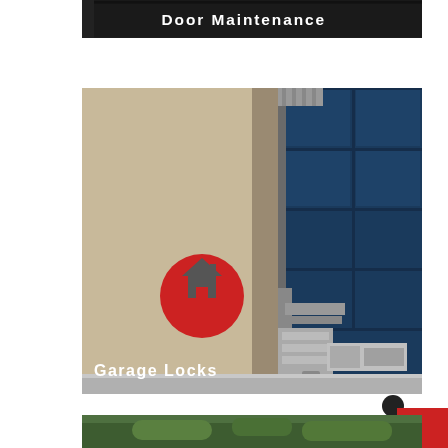[Figure (photo): Dark header image with text 'Door Maintenance' in white on a dark background]
[Figure (photo): Photo of a blue garage door with metal locks and hinges hardware visible at the bottom corner, with a red circular home icon overlaid and 'Garage Locks' text label at bottom left]
[Figure (logo): Partial red and black logo in bottom right corner]
[Figure (photo): Partial green/nature image at bottom edge of page]